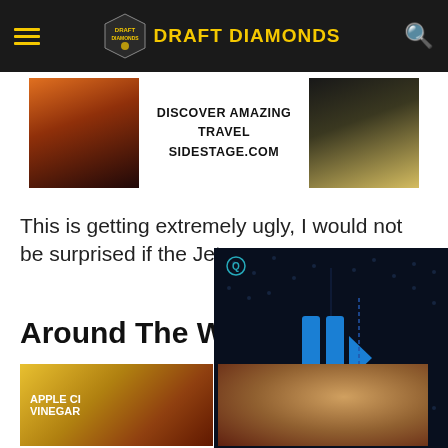Draft Diamonds
[Figure (other): Advertisement banner: DISCOVER AMAZING TRAVEL SIDESTAGE.COM with landscape sunset images on left and right]
This is getting extremely ugly, I would not be surprised if the Jets
Around The W
[Figure (other): Thumbnail image of Apple Cider Vinegar product bag]
[Figure (other): Video player overlay with blue play button icons on dark background, with mute icon and Q icon]
[Figure (photo): Close-up photo of a person's face/hair]